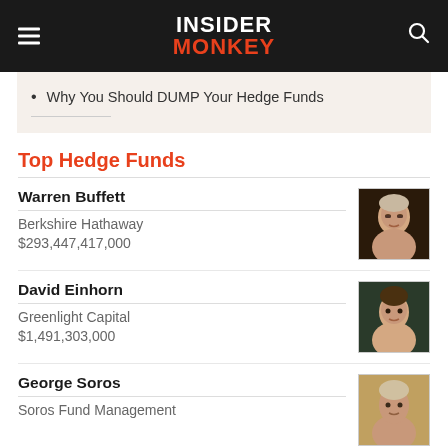INSIDER MONKEY
Why You Should DUMP Your Hedge Funds
Top Hedge Funds
Warren Buffett
Berkshire Hathaway
$293,447,417,000
David Einhorn
Greenlight Capital
$1,491,303,000
George Soros
Soros Fund Management